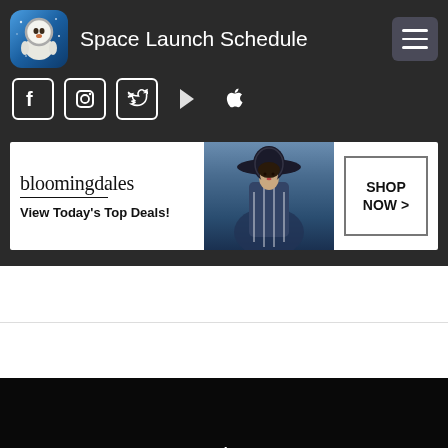[Figure (screenshot): Space Launch Schedule website header with logo (astronaut monkey in space suit), site title, hamburger menu button, social media icons (Facebook, Instagram, Twitter, Google Play, Apple), a Bloomingdale's ad banner, a white content area with a horizontal divider, a dark navigation area showing Rockets and Astronauts menu items with a CLOSE button, and a Seamless food delivery ad at the bottom.]